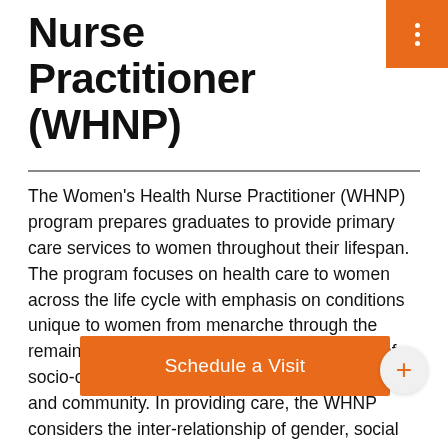Nurse Practitioner (WHNP)
The Women's Health Nurse Practitioner (WHNP) program prepares graduates to provide primary care services to women throughout their lifespan. The program focuses on health care to women across the life cycle with emphasis on conditions unique to women from menarche through the remainder of their life cycle within the context of socio-cultural environments: interpersonal, family and community. In providing care, the WHNP considers the inter-relationship of gender, social class, culture, ethnicity, sexual orientation, economic... al power differenti...
The WHNP program builds upon the base of